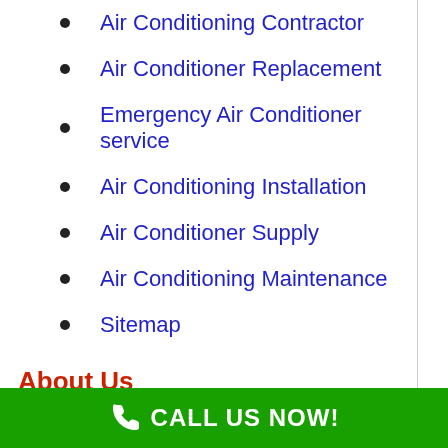Air Conditioning Contractor
Air Conditioner Replacement
Emergency Air Conditioner service
Air Conditioning Installation
Air Conditioner Supply
Air Conditioning Maintenance
Sitemap
About Us
With over 40 years of experience, we've been providing a/c, heater, and interior air quality solutions to the Reading. As a locally owned and operated family business, we happily serve our customers with honesty and professionalism and
CALL US NOW!